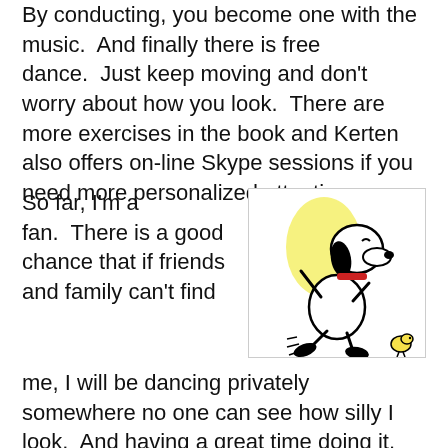By conducting, you become one with the music.  And finally there is free dance.  Just keep moving and don't worry about how you look.  There are more exercises in the book and Kerten also offers on-line Skype sessions if you need more personalized attention.
So far, I'm a fan.  There is a good chance that if friends and family can't find me, I will be dancing privately somewhere no one can see how silly I look.  And having a great time doing it.
[Figure (illustration): Cartoon illustration of Snoopy dancing with Woodstock, with a yellow oval shape in the background. Snoopy is shown in a joyful dancing pose with one arm raised.]